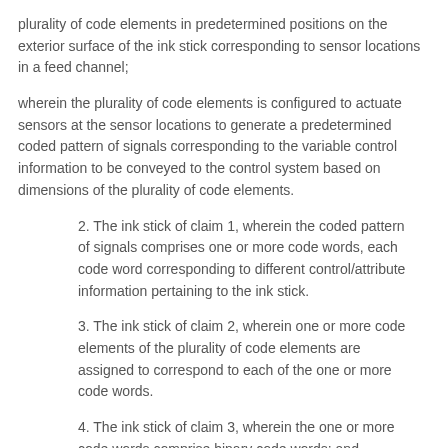plurality of code elements in predetermined positions on the exterior surface of the ink stick corresponding to sensor locations in a feed channel;
wherein the plurality of code elements is configured to actuate sensors at the sensor locations to generate a predetermined coded pattern of signals corresponding to the variable control information to be conveyed to the control system based on dimensions of the plurality of code elements.
2. The ink stick of claim 1, wherein the coded pattern of signals comprises one or more code words, each code word corresponding to different control/attribute information pertaining to the ink stick.
3. The ink stick of claim 2, wherein one or more code elements of the plurality of code elements are assigned to correspond to each of the one or more code words.
4. The ink stick of claim 3, wherein the one or more code words comprise binary code words; and
wherein each code element of code sensor feature is assigned to correspond to a bit of the one or more